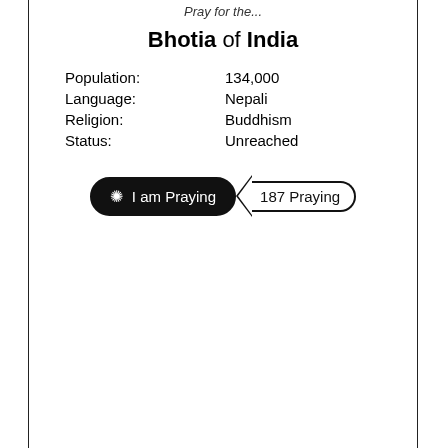Pray for the...
Bhotia of India
| Population: | 134,000 |
| Language: | Nepali |
| Religion: | Buddhism |
| Status: | Unreached |
[Figure (screenshot): Two UI buttons: a dark rounded 'I am Praying' button with a gear/settings icon, and a tag-shaped '187 Praying' counter badge with a left-pointing arrow notch on its border.]